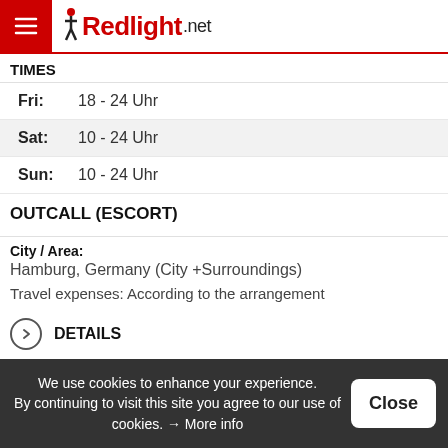Redlight.net
TIMES
Fri: 18 - 24 Uhr
Sat: 10 - 24 Uhr
Sun: 10 - 24 Uhr
OUTCALL (ESCORT)
City / Area:
Hamburg, Germany (City +Surroundings)
Travel expenses: According to the arrangement
DETAILS
DESCRIPTION
SERVICES
PRICES
We use cookies to enhance your experience. By continuing to visit this site you agree to our use of cookies. → More info